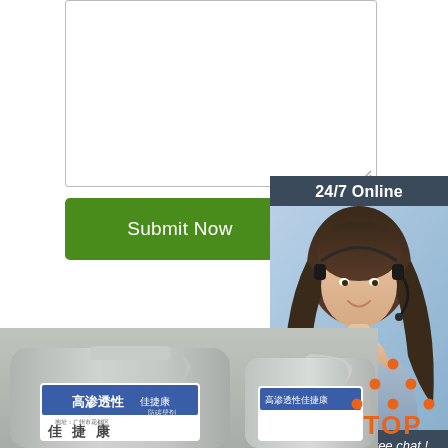[Figure (screenshot): Empty textarea input box with resize handle at bottom right]
[Figure (illustration): Green 'Submit Now' button]
[Figure (infographic): 24/7 Online customer service panel with photo of woman with headset, 'Click here for free chat!' text, and orange QUOTATION button]
[Figure (photo): Product photo showing gray plastic containers/jugs with Chinese label reading 高渗透性佳捷康 (high permeability Jia Jie Kang)]
[Figure (logo): TOP logo with orange triangular dots above the word TOP in orange]